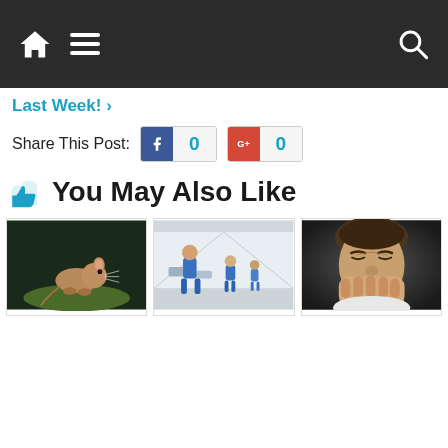Navigation bar with home icon, hamburger menu, and search icon
Last Week!
Share This Post: 0 0
You May Also Like
[Figure (photo): Mouse on green moss in dark background]
8 Officers Relieved From Duty, Blame Gang of Mice For 1,000 Pounds of Missing
[Figure (photo): Hospital corridor with medical personnel in blue scrubs]
Hawaii Legalizes Medically Assisted Suicide
April 8, 2018
[Figure (photo): Person with hands over face looking distressed]
Horrific Story Will Ensure You Never Hold In A Sneeze Again
April 3, 2018